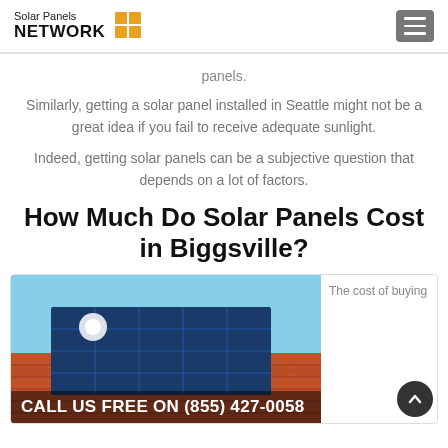Solar Panels NETWORK
panels.
Similarly, getting a solar panel installed in Seattle might not be a great idea if you fail to receive adequate sunlight.
Indeed, getting solar panels can be a subjective question that depends on a lot of factors.
How Much Do Solar Panels Cost in Biggsville?
[Figure (photo): Solar panels mounted on an orange tiled roof against a blue sky.]
The cost of buying
CALL US FREE ON (855) 427-0058